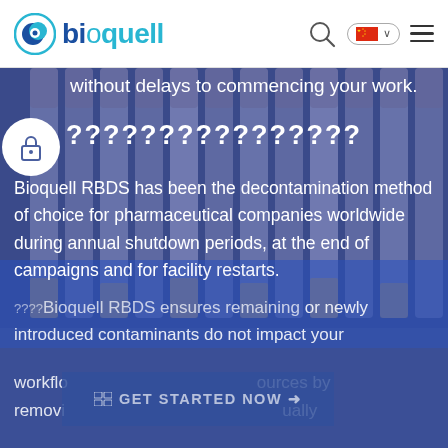bioquell
without delays to commencing your work.
（Chinese characters heading）
Bioquell RBDS has been the decontamination method of choice for pharmaceutical companies worldwide during annual shutdown periods, at the end of campaigns and for facility restarts. Bioquell RBDS ensures remaining or newly introduced contaminants do not impact your workflow resources by removing... (continues)
GET STARTED NOW →